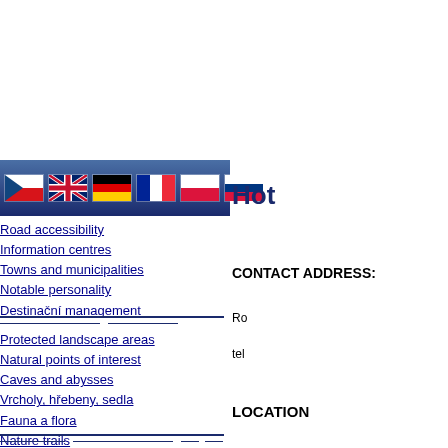[Figure (screenshot): Navigation bar with six national flags: Czech, UK, German, French, Polish, Russian on a dark blue gradient background]
Road accessibility
Information centres
Towns and municipalities
Notable personality
Destinační management
Protected landscape areas
Natural points of interest
Caves and abysses
Vrcholy, hřebeny, sedla
Fauna a flora
Nature trails
Culture and entertainment
Hot
CONTACT ADDRESS:
Ro
tel
LOCATION